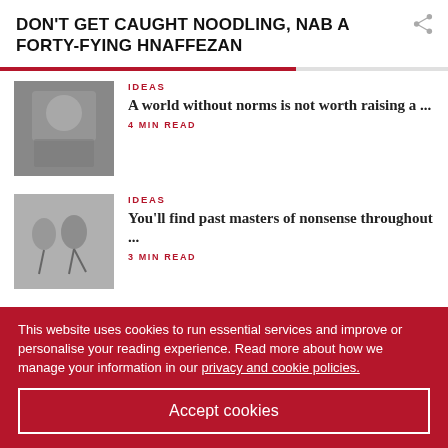DON'T GET CAUGHT NOODLING, NAB A FORTY-FYING HNAFFEZAN
[Figure (illustration): Man in suit sitting at a table holding a beer mug]
IDEAS
A world without norms is not worth raising a ...
4 MIN READ
[Figure (illustration): Black and white sketch of figures]
IDEAS
You'll find past masters of nonsense throughout ...
3 MIN READ
[Figure (illustration): Cartoon characters in blue background]
IDEAS
How hoist blew up into heist, all thanks to an ...
3 MIN READ
[Figure (photo): Partially visible photo of a person's face]
IDEAS
This website uses cookies to run essential services and improve or personalise your reading experience. Read more about how we manage your information in our privacy and cookie policies.
Accept cookies